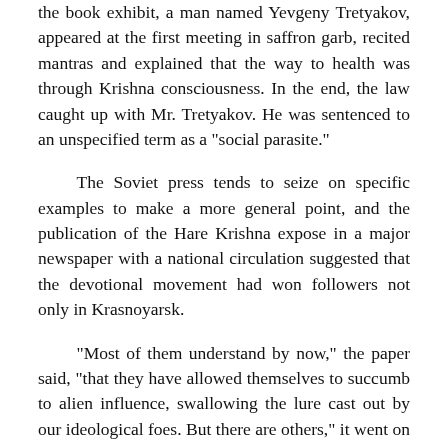the book exhibit, a man named Yevgeny Tretyakov, appeared at the first meeting in saffron garb, recited mantras and explained that the way to health was through Krishna consciousness. In the end, the law caught up with Mr. Tretyakov. He was sentenced to an unspecified term as a "social parasite."
The Soviet press tends to seize on specific examples to make a more general point, and the publication of the Hare Krishna expose in a major newspaper with a national circulation suggested that the devotional movement had won followers not only in Krasnoyarsk.
"Most of them understand by now," the paper said, "that they have allowed themselves to succumb to alien influence, swallowing the lure cast out by our ideological foes. But there are others," it went on pointedly, "who have yet to understand." [The preceding article also appeared on the front page of The Times of India.]
Hare Krsna Temple Wins Gandhi Community